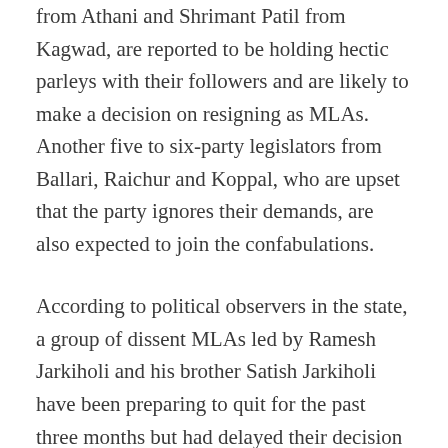from Athani and Shrimant Patil from Kagwad, are reported to be holding hectic parleys with their followers and are likely to make a decision on resigning as MLAs. Another five to six-party legislators from Ballari, Raichur and Koppal, who are upset that the party ignores their demands, are also expected to join the confabulations.
According to political observers in the state, a group of dissent MLAs led by Ramesh Jarkiholi and his brother Satish Jarkiholi have been preparing to quit for the past three months but had delayed their decision hoping to receive a good deal from the party leadership.
The Jarkiholi brothers even refused to go to Delhi for rapprochement with the party high command and